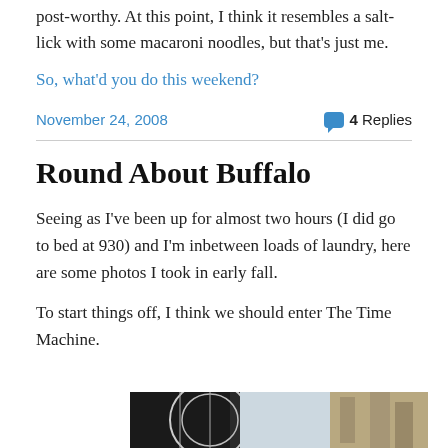post-worthy.  At this point, I think it resembles a salt-lick with some macaroni noodles, but that's just me.
So, what'd you do this weekend?
November 24, 2008    4 Replies
Round About Buffalo
Seeing as I've been up for almost two hours (I did go to bed at 930) and I'm inbetween loads of laundry, here are some photos I took in early fall.
To start things off, I think we should enter The Time Machine.
[Figure (photo): Bottom portion of a photo showing what appears to be an architectural or sculptural detail, partially visible at the bottom of the page.]